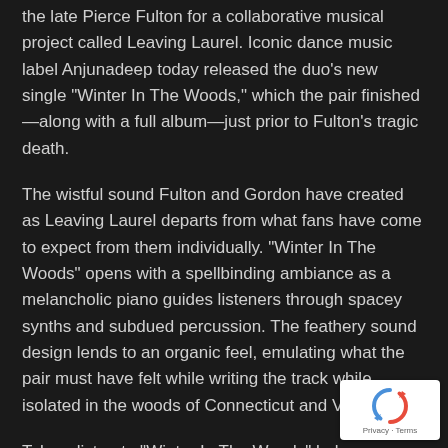the late Pierce Fulton for a collaborative musical project called Leaving Laurel. Iconic dance music label Anjunadeep today released the duo's new single "Winter In The Woods," which the pair finished—along with a full album—just prior to Fulton's tragic death.
The wistful sound Fulton and Gordon have created as Leaving Laurel departs from what fans have come to expect from them individually. "Winter In The Woods" opens with a spellbinding ambiance as a melancholic piano guides listeners through spacey synths and subdued percussion. The feathery sound design lends to an organic feel, emulating what the pair must have felt while writing the track while isolated in the woods of Connecticut and Vermont.
Take a listen to "Winter In The Woods" below.
[Figure (logo): reCAPTCHA badge with spinning arrows icon and Privacy · Terms text]